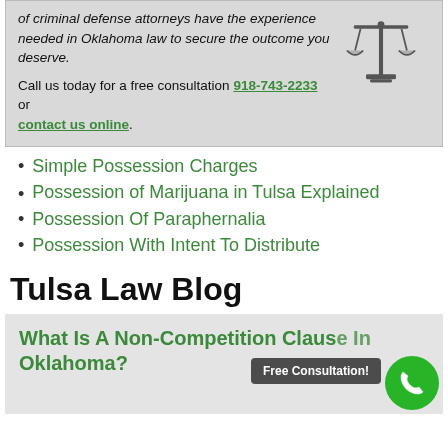of criminal defense attorneys have the experience needed in Oklahoma law to secure the outcome you deserve.
Call us today for a free consultation 918-743-2233 or contact us online.
Simple Possession Charges
Possession of Marijuana in Tulsa Explained
Possession Of Paraphernalia
Possession With Intent To Distribute
Tulsa Law Blog
What Is A Non-Competition Clause In Oklahoma?